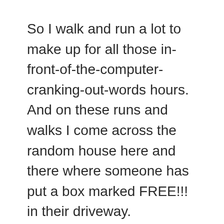So I walk and run a lot to make up for all those in-front-of-the-computer-cranking-out-words hours. And on these runs and walks I come across the random house here and there where someone has put a box marked FREE!!! in their driveway.
And like a magnet in a Bugs Bunny cartoon, I'm lured right in.
Yes, some of the free (sorry, FREE!!!) stuff is absolute junk. But sometimes as I excavate through the rubble, I'm like Indiana Jones